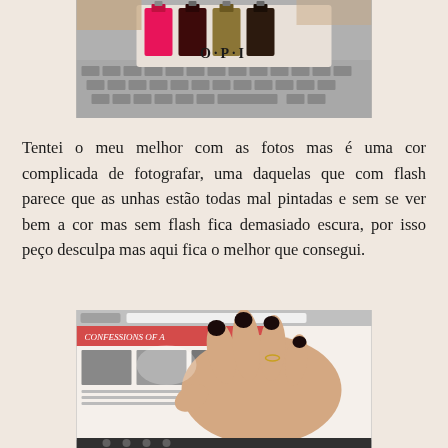[Figure (photo): A hand holding an OPI nail polish mini set with multiple colored bottles on a laptop keyboard]
Tentei o meu melhor com as fotos mas é uma cor complicada de fotografar, uma daquelas que com flash parece que as unhas estão todas mal pintadas e sem se ver bem a cor mas sem flash fica demasiado escura, por isso peço desculpa mas aqui fica o melhor que consegui.
[Figure (photo): A hand with dark-painted nails resting on a laptop/tablet screen showing a blog page]